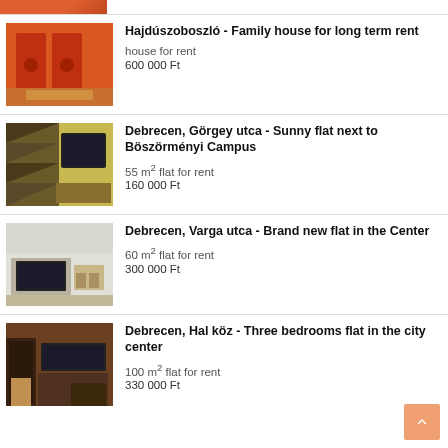[Figure (photo): Partial top strip of a room with orange/red doors]
Hajdúszoboszló - Family house for long term rent
house for rent
600 000 Ft
[Figure (photo): Room with chevron-patterned wall and TV]
Debrecen, Görgey utca - Sunny flat next to Böszörményi Campus
55 m² flat for rent
160 000 Ft
[Figure (photo): Modern living room with TV unit and dining area]
Debrecen, Varga utca - Brand new flat in the Center
60 m² flat for rent
300 000 Ft
[Figure (photo): Living room with dark furniture and TV]
Debrecen, Hal köz - Three bedrooms flat in the city center
100 m² flat for rent
330 000 Ft